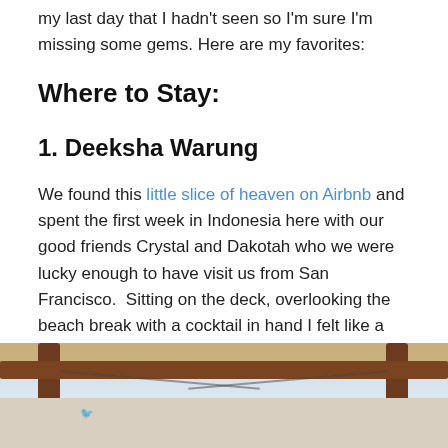my last day that I hadn't seen so I'm sure I'm missing some gems. Here are my favorites:
Where to Stay:
1. Deeksha Warung
We found this little slice of heaven on Airbnb and spent the first week in Indonesia here with our good friends Crystal and Dakotah who we were lucky enough to have visit us from San Francisco.  Sitting on the deck, overlooking the beach break with a cocktail in hand I felt like a Billionaire Baller. It really doesn't get much better than this…
[Figure (photo): View from a thatched-roof wooden deck/warung overlooking a beach, with wooden beams framing the sky and coastline]